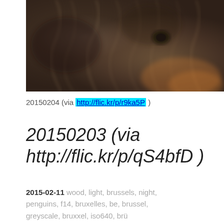[Figure (photo): Blurred close-up photo of an animal with brown/grey fur, dark and moody tones]
20150204 (via http://flic.kr/p/r9ka5P )
20150203 (via http://flic.kr/p/qS4bfD )
2015-02-11  wood, light, brussels, night, penguins, f14, bruxelles, be, brussel, greyscale, bruxxel, iso640, brü